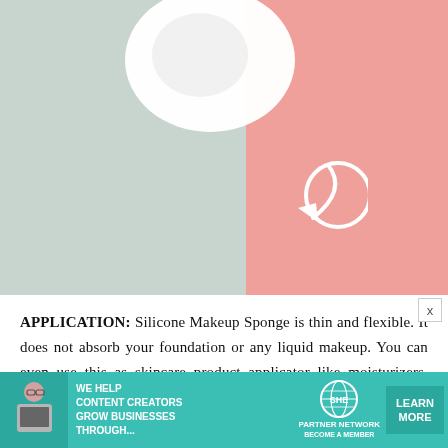[Figure (photo): Overhead photo split background: left side pale sage green, right side soft coral/blush pink. A white silicone makeup sponge (mochi puff) sits at top center. A white outlined arrow points toward the sponge on the right (pink) side.]
APPLICATION: Silicone Makeup Sponge is thin and flexible. It does not absorb your foundation or any liquid makeup. You can even use this as skincare product applicator like moisturizers. Everything will glide smoothly as you pat it on your face. Some people complain that it doesn't reach the inner corners of the face, but the edges of my RiRe Silicone Mochi Puff is smooth and I could easily app
[Figure (infographic): Advertisement banner: teal/green background. Left: photo of a woman with glasses at a laptop. Center text: 'WE HELP CONTENT CREATORS GROW BUSINESSES THROUGH...' SHE PARTNER NETWORK BECOME A MEMBER logo. Right: green button 'LEARN MORE'.]